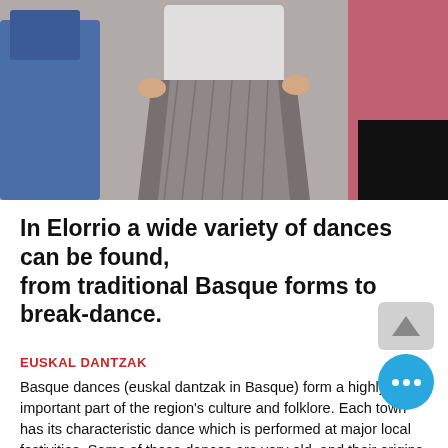[Figure (photo): Partial photo of people wearing traditional Basque costumes including a grey pleated skirt and white top, with other figures in blue and red/pink garments visible on sides.]
In Elorrio a wide variety of dances can be found, from traditional Basque forms to break-dance.
EUSKAL DANTZAK
Basque dances (euskal dantzak in Basque) form a highly important part of the region's culture and folklore. Each town has its characteristic dance which is performed at major local festivities. Some of these dances are very old, and their origins are lost in the mists of time. Others are more or less modern re-creations of old dances, and still others are newly invented popular forms.
The best time to enjoy typical Basque